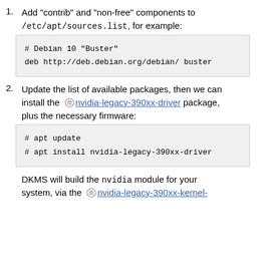1. Add "contrib" and "non-free" components to /etc/apt/sources.list, for example:
# Debian 10 "Buster"
deb http://deb.debian.org/debian/ buster
2. Update the list of available packages, then we can install the nvidia-legacy-390xx-driver package, plus the necessary firmware:
# apt update
# apt install nvidia-legacy-390xx-driver
DKMS will build the nvidia module for your system, via the nvidia-legacy-390xx-kernel-